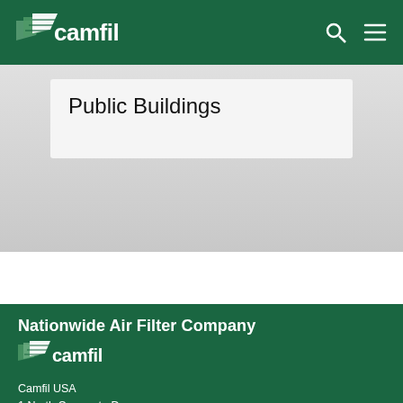camfil
Public Buildings
Nationwide Air Filter Company
[Figure (logo): Camfil logo in white on dark green background (footer)]
Camfil USA
1 North Corporate Dr.